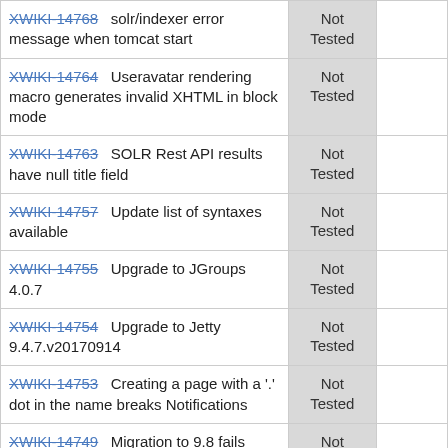| Issue | Status |  |
| --- | --- | --- |
| XWIKI-14768  solr/indexer error message when tomcat start | Not Tested |  |
| XWIKI-14764  Useravatar rendering macro generates invalid XHTML in block mode | Not Tested |  |
| XWIKI-14763  SOLR Rest API results have null title field | Not Tested |  |
| XWIKI-14757  Update list of syntaxes available | Not Tested |  |
| XWIKI-14755  Upgrade to JGroups 4.0.7 | Not Tested |  |
| XWIKI-14754  Upgrade to Jetty 9.4.7.v20170914 | Not Tested |  |
| XWIKI-14753  Creating a page with a '.' dot in the name breaks Notifications | Not Tested |  |
| XWIKI-14749  Migration to 9.8 fails | Not |  |